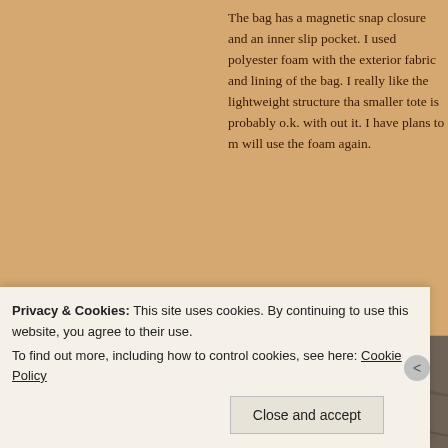The bag has a magnetic snap closure and an inner slip pocket. I used polyester foam with the exterior fabric and lining of the bag. I really like the lightweight structure that a smaller tote is probably o.k. with out it. I have plans to m will use the foam again.
[Figure (photo): Close-up photo of tree bark texture with a blue fabric or bag visible in a crevice]
Privacy & Cookies: This site uses cookies. By continuing to use this website, you agree to their use.
To find out more, including how to control cookies, see here: Cookie Policy
Close and accept